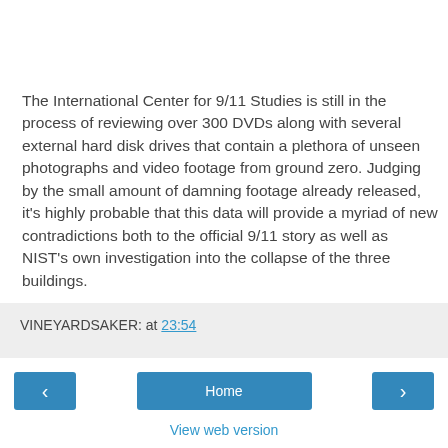The International Center for 9/11 Studies is still in the process of reviewing over 300 DVDs along with several external hard disk drives that contain a plethora of unseen photographs and video footage from ground zero. Judging by the small amount of damning footage already released, it's highly probable that this data will provide a myriad of new contradictions both to the official 9/11 story as well as NIST's own investigation into the collapse of the three buildings.
VINEYARDSAKER: at 23:54
Home
View web version